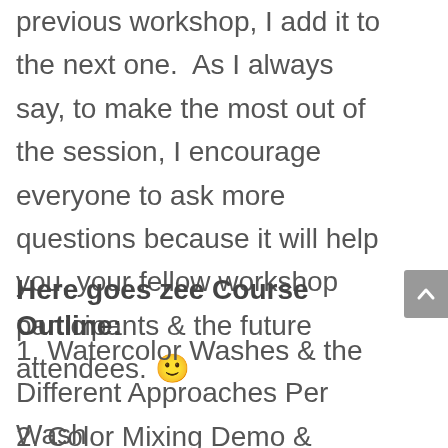previous workshop, I add it to the next one.  As I always say, to make the most out of the session, I encourage everyone to ask more questions because it will help you, your fellow workshop participants & the future attendees. 🙂
Here goes zee Course Outline:
1. Watercolor Washes & the Different Approaches Per Wash
2. Color Mixing Demo & Exercises